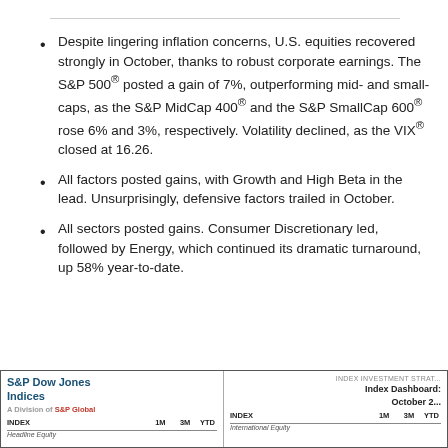Despite lingering inflation concerns, U.S. equities recovered strongly in October, thanks to robust corporate earnings. The S&P 500® posted a gain of 7%, outperforming mid- and small-caps, as the S&P MidCap 400® and the S&P SmallCap 600® rose 6% and 3%, respectively. Volatility declined, as the VIX® closed at 16.26.
All factors posted gains, with Growth and High Beta in the lead. Unsurprisingly, defensive factors trailed in October.
All sectors posted gains. Consumer Discretionary led, followed by Energy, which continued its dramatic turnaround, up 58% year-to-date.
| INDEX | 1M | 3M | YTD |
| --- | --- | --- | --- |
| Headline Equity |  |  |  |